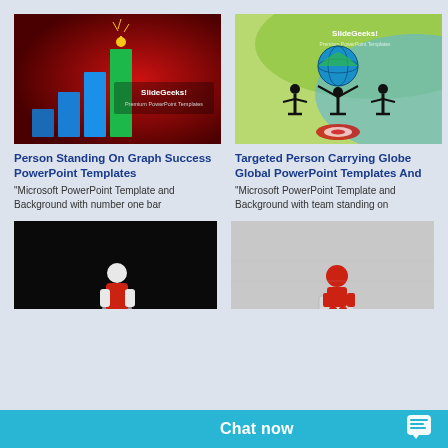[Figure (screenshot): SlideGeeks Premium PowerPoint Templates thumbnail showing a person standing on a bar graph against a red background]
[Figure (screenshot): SlideGeeks Premium PowerPoint Templates thumbnail showing a targeted person carrying a globe with two other people on a green and blue swirly background]
Person Standing On Graph Success PowerPoint Templates
Targeted Person Carrying Globe Global PowerPoint Templates And
"Microsoft PowerPoint Template and Background with number one bar
"Microsoft PowerPoint Template and Background with team standing on
[Figure (screenshot): SlideGeeks Premium PowerPoint Templates thumbnail showing a 3D white character with red shirt standing on puzzle pieces against black background]
[Figure (screenshot): SlideGeeks Premium PowerPoint Templates thumbnail showing a red 3D figure standing on white podium blocks]
Chat now